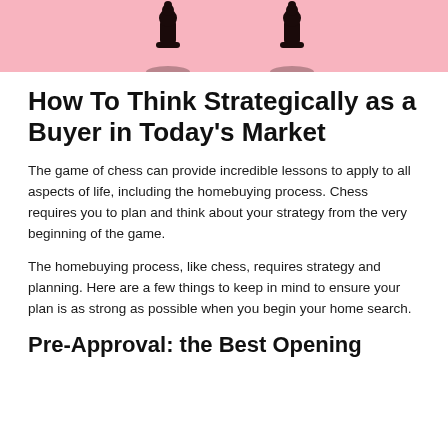[Figure (photo): Pink background banner with black chess pieces (two pieces visible, partially cropped at top)]
How To Think Strategically as a Buyer in Today's Market
The game of chess can provide incredible lessons to apply to all aspects of life, including the homebuying process. Chess requires you to plan and think about your strategy from the very beginning of the game.
The homebuying process, like chess, requires strategy and planning. Here are a few things to keep in mind to ensure your plan is as strong as possible when you begin your home search.
Pre-Approval: the Best Opening